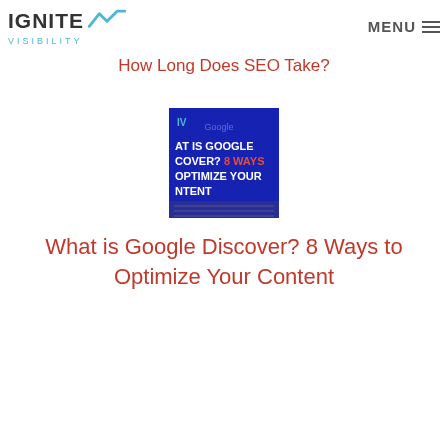IGNITE VISIBILITY | MENU
How Long Does SEO Take?
[Figure (screenshot): Thumbnail image showing text: WHAT IS GOOGLE DISCOVER? 8 WAYS TO OPTIMIZE YOUR CONTENT on a dark blue background with Google branding]
What is Google Discover? 8 Ways to Optimize Your Content